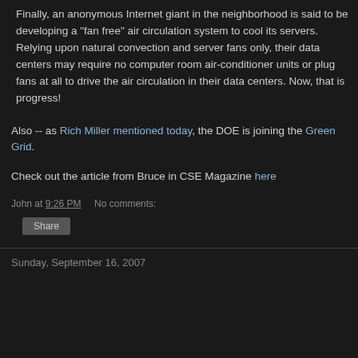Finally, an anonymous Internet giant in the neighborhood is said to be developing a “fan free” air circulation system to cool its servers. Relying upon natural convection and server fans only, their data centers may require no computer room air-conditioner units or plug fans at all to drive the air circulation in their data centers. Now, that is progress!
Also -- as Rich Miller mentioned today, the DOE is joining the Green Grid.
Check out the article from Bruce in CSE Magazine here
John at 9:26 PM    No comments:
Share
Sunday, September 16, 2007